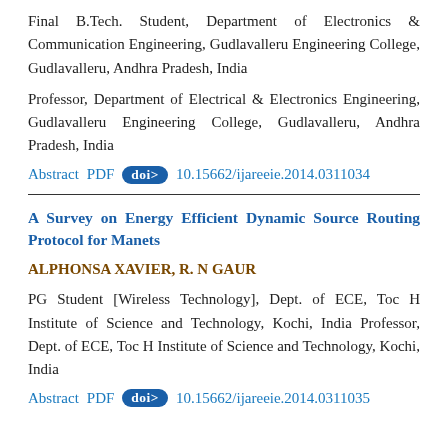Final B.Tech. Student, Department of Electronics & Communication Engineering, Gudlavalleru Engineering College, Gudlavalleru, Andhra Pradesh, India
Professor, Department of Electrical & Electronics Engineering, Gudlavalleru Engineering College, Gudlavalleru, Andhra Pradesh, India
Abstract  PDF  doi>  10.15662/ijareeie.2014.0311034
A Survey on Energy Efficient Dynamic Source Routing Protocol for Manets
ALPHONSA XAVIER, R. N GAUR
PG Student [Wireless Technology], Dept. of ECE, Toc H Institute of Science and Technology, Kochi, India Professor, Dept. of ECE, Toc H Institute of Science and Technology, Kochi, India
Abstract  PDF  doi>  10.15662/ijareeie.2014.0311035